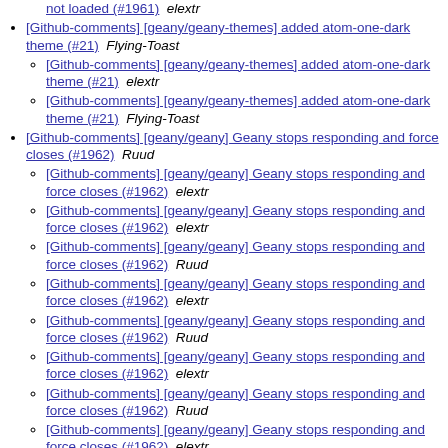not loaded (#1961)  elextr
[Github-comments] [geany/geany-themes] added atom-one-dark theme (#21)  Flying-Toast
[Github-comments] [geany/geany-themes] added atom-one-dark theme (#21)  elextr
[Github-comments] [geany/geany-themes] added atom-one-dark theme (#21)  Flying-Toast
[Github-comments] [geany/geany] Geany stops responding and force closes (#1962)  Ruud
[Github-comments] [geany/geany] Geany stops responding and force closes (#1962)  elextr
[Github-comments] [geany/geany] Geany stops responding and force closes (#1962)  elextr
[Github-comments] [geany/geany] Geany stops responding and force closes (#1962)  Ruud
[Github-comments] [geany/geany] Geany stops responding and force closes (#1962)  elextr
[Github-comments] [geany/geany] Geany stops responding and force closes (#1962)  Ruud
[Github-comments] [geany/geany] Geany stops responding and force closes (#1962)  elextr
[Github-comments] [geany/geany] Geany stops responding and force closes (#1962)  Ruud
[Github-comments] [geany/geany] Geany stops responding and force closes (#1962)  elextr